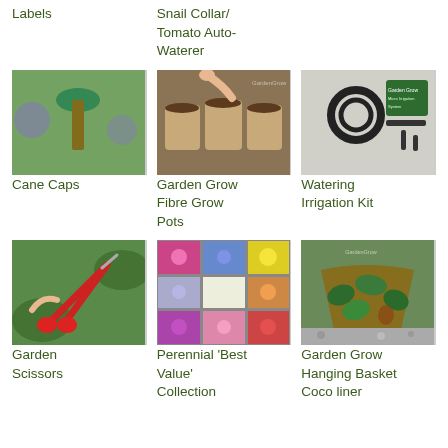Labels
Snail Collar/ Tomato Auto-Waterer
[Figure (photo): Green cane cap on a garden cane with purple flowers in background]
Cane Caps
[Figure (photo): Hands placing seeds into biodegradable fibre grow pots filled with soil]
Garden Grow Fibre Grow Pots
[Figure (photo): Watering irrigation kit with drip tubing and connectors, green box packaging]
Watering Irrigation Kit
[Figure (photo): Red garden scissors held in hand cutting a plant stem]
Garden Scissors
[Figure (photo): Grid collage of colourful perennial flowers in various shades]
Perennial 'Best Value' Collection
[Figure (photo): Garden Grow hanging basket coco liner with ivy and foliage]
Garden Grow Hanging Basket Coco liner